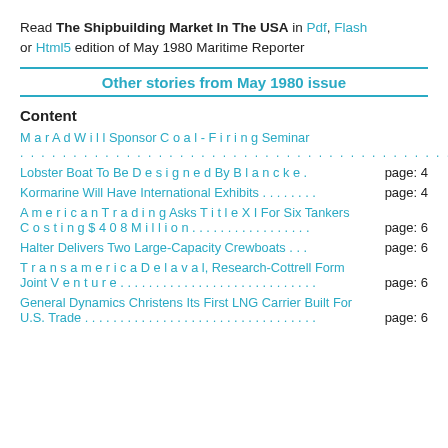Read The Shipbuilding Market In The USA in Pdf, Flash or Html5 edition of May 1980 Maritime Reporter
Other stories from May 1980 issue
Content
M a r A d W i l l Sponsor C o a l - F i r i n g Seminar . . . . . . . . . . . . . . . . . . . . . . . . . . . . . . . . . . . . . . . . . . . page: 4
Lobster Boat To Be D e s i g n e d By B l a n c k e . page: 4
Kormarine Will Have International Exhibits . . . . . . . . page: 4
A m e r i c a n T r a d i n g Asks T i t l e X I For Six Tankers C o s t i n g $ 4 0 8 M i l l i o n . . . . . . . . . . . . . . . . . page: 6
Halter Delivers Two Large-Capacity Crewboats . . . page: 6
T r a n s a m e r i c a D e l a v a l, Research-Cottrell Form Joint V e n t u r e . . . . . . . . . . . . . . . . . . . . . . . . . . page: 6
General Dynamics Christens Its First LNG Carrier Built For U.S. Trade . . . . . . . . . . . . . . . . . . . . . . . . . . . . . page: 6